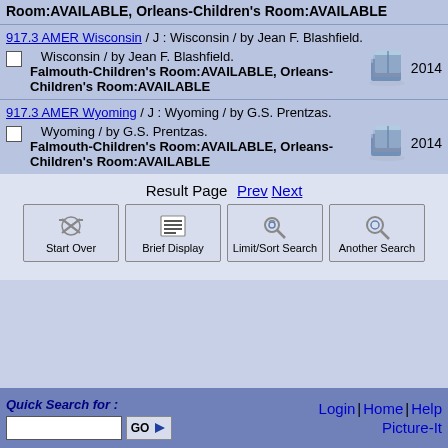Room:AVAILABLE, Orleans-Children's Room:AVAILABLE
917.3 AMER Wisconsin / J : Wisconsin / by Jean F. Blashfield. Wisconsin / by Jean F. Blashfield. Falmouth-Children's Room:AVAILABLE, Orleans-Children's Room:AVAILABLE 2014
917.3 AMER Wyoming / J : Wyoming / by G.S. Prentzas. Wyoming / by G.S. Prentzas. Falmouth-Children's Room:AVAILABLE, Orleans-Children's Room:AVAILABLE 2014
Result Page Prev Next
Start Over | Brief Display | Limit/Sort Search | Another Search
Quick Search for : Login | Home | Help | Picture-It